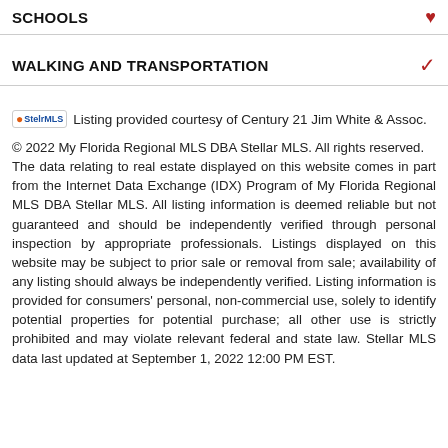SCHOOLS
WALKING AND TRANSPORTATION
Listing provided courtesy of Century 21 Jim White & Assoc.
© 2022 My Florida Regional MLS DBA Stellar MLS. All rights reserved.
The data relating to real estate displayed on this website comes in part from the Internet Data Exchange (IDX) Program of My Florida Regional MLS DBA Stellar MLS. All listing information is deemed reliable but not guaranteed and should be independently verified through personal inspection by appropriate professionals. Listings displayed on this website may be subject to prior sale or removal from sale; availability of any listing should always be independently verified. Listing information is provided for consumers' personal, non-commercial use, solely to identify potential properties for potential purchase; all other use is strictly prohibited and may violate relevant federal and state law. Stellar MLS data last updated at September 1, 2022 12:00 PM EST.